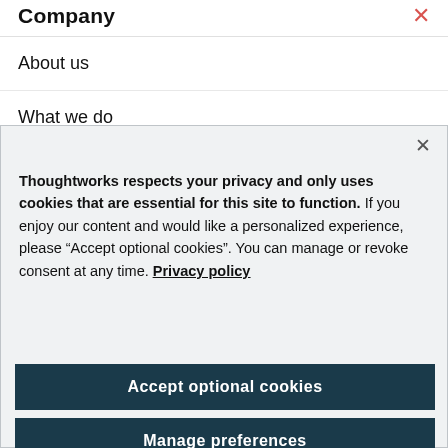Company
About us
What we do
Thoughtworks respects your privacy and only uses cookies that are essential for this site to function. If you enjoy our content and would like a personalized experience, please “Accept optional cookies”. You can manage or revoke consent at any time. Privacy policy
Accept optional cookies
Manage preferences